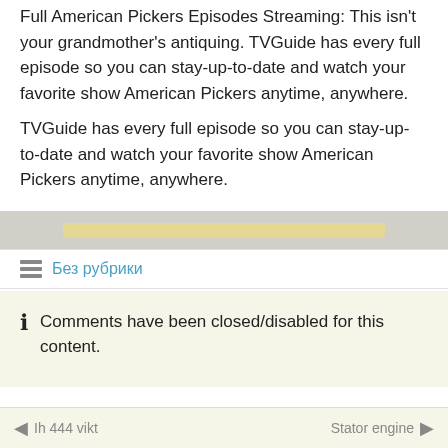Full American Pickers Episodes Streaming: This isn't your grandmother's antiquing. TVGuide has every full episode so you can stay-up-to-date and watch your favorite show American Pickers anytime, anywhere.
TVGuide has every full episode so you can stay-up-to-date and watch your favorite show American Pickers anytime, anywhere.
Без рубрики
Comments have been closed/disabled for this content.
Ih 444 vikt    Stator engine